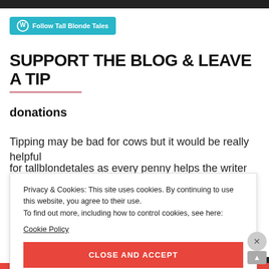[Figure (other): Follow Tall Blonde Tales WordPress follow button in cyan/teal color]
SUPPORT THE BLOG & LEAVE A TIP
donations
Tipping may be bad for cows but it would be really helpful for tallblondetales as every penny helps the writer and
Privacy & Cookies: This site uses cookies. By continuing to use this website, you agree to their use. To find out more, including how to control cookies, see here: Cookie Policy
CLOSE AND ACCEPT